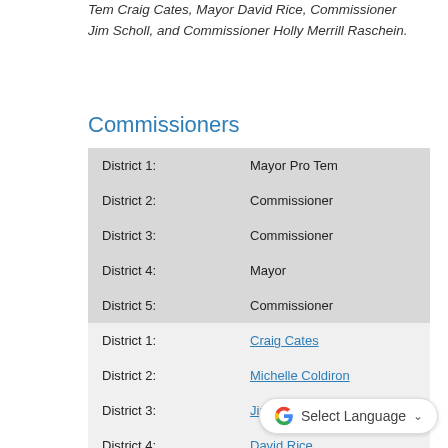Tem Craig Cates, Mayor David Rice, Commissioner Jim Scholl, and Commissioner Holly Merrill Raschein.
Commissioners
| District 1: | Mayor Pro Tem |
| District 2: | Commissioner |
| District 3: | Commissioner |
| District 4: | Mayor |
| District 5: | Commissioner |
| District 1: | Craig Cates |
| District 2: | Michelle Coldiron |
| District 3: | Jim Scholl |
| District 4: | David Rice |
| District 5: | Holly Raschein |